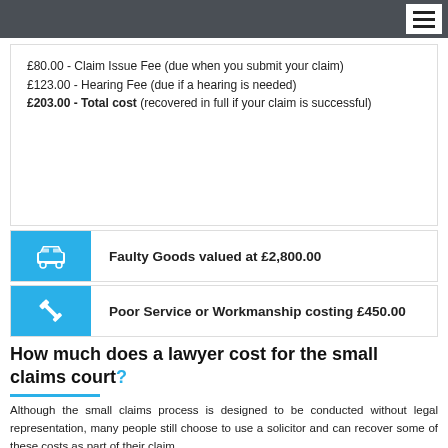£80.00 - Claim Issue Fee (due when you submit your claim)
£123.00 - Hearing Fee (due if a hearing is needed)
£203.00 - Total cost (recovered in full if your claim is successful)
Faulty Goods valued at £2,800.00
Poor Service or Workmanship costing £450.00
How much does a lawyer cost for the small claims court?
Although the small claims process is designed to be conducted without legal representation, many people still choose to use a solicitor and can recover some of these costs as part of their claim.